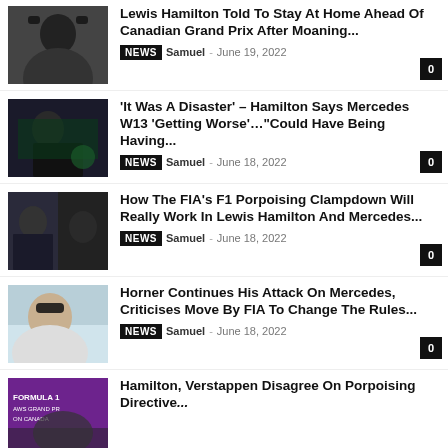Lewis Hamilton Told To Stay At Home Ahead Of Canadian Grand Prix After Moaning... | NEWS Samuel - June 19, 2022 | 0
'It Was A Disaster' – Hamilton Says Mercedes W13 'Getting Worse'…"Could Have Being Having... | NEWS Samuel - June 18, 2022 | 0
How The FIA's F1 Porpoising Clampdown Will Really Work In Lewis Hamilton And Mercedes... | NEWS Samuel - June 18, 2022 | 0
Horner Continues His Attack On Mercedes, Criticises Move By FIA To Change The Rules... | NEWS Samuel - June 18, 2022 | 0
Hamilton, Verstappen Disagree On Porpoising Directive...